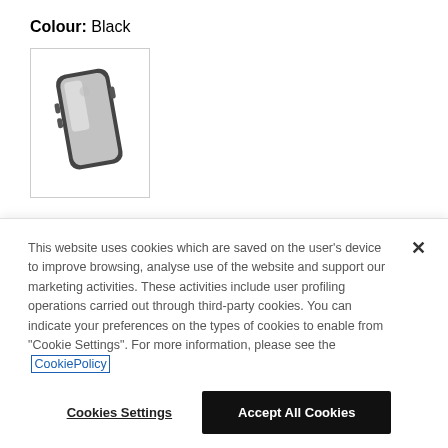Colour: Black
[Figure (photo): Black phone case (transparent/clear with black edges) shown at an angle on a white background inside a bordered box]
This website uses cookies which are saved on the user's device to improve browsing, analyse use of the website and support our marketing activities. These activities include user profiling operations carried out through third-party cookies. You can indicate your preferences on the types of cookies to enable from "Cookie Settings". For more information, please see the CookiePolicy
Cookies Settings
Accept All Cookies